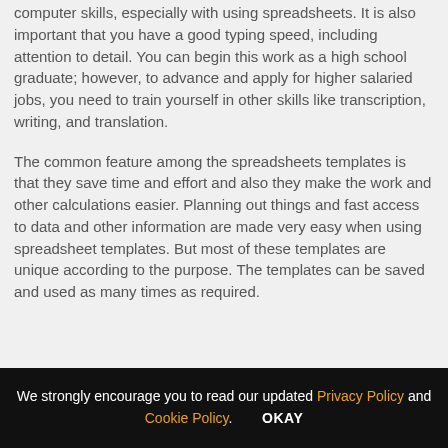computer skills, especially with using spreadsheets. It is also important that you have a good typing speed, including attention to detail. You can begin this work as a high school graduate; however, to advance and apply for higher salaried jobs, you need to train yourself in other skills like transcription, writing, and translation.
The common feature among the spreadsheets templates is that they save time and effort and also they make the work and other calculations easier. Planning out things and fast access to data and other information are made very easy when using spreadsheet templates. But most of these templates are unique according to the purpose. The templates can be saved and used as many times as required.
We strongly encourage you to read our updated Privacy Policy and Cookie Policy. OKAY